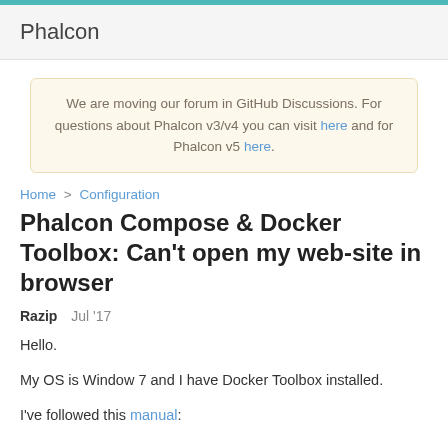Phalcon
We are moving our forum in GitHub Discussions. For questions about Phalcon v3/v4 you can visit here and for Phalcon v5 here.
Home > Configuration
Phalcon Compose & Docker Toolbox: Can't open my web-site in browser
Razip   Jul '17
Hello.
My OS is Window 7 and I have Docker Toolbox installed.
I've followed this manual: